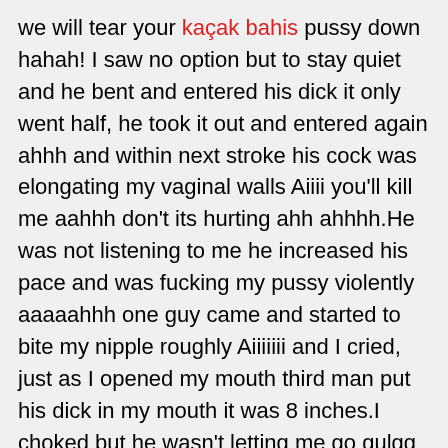we will tear your kaçak bahis pussy down hahah! I saw no option but to stay quiet and he bent and entered his dick it only went half, he took it out and entered again ahhh and within next stroke his cock was elongating my vaginal walls Aiiii you'll kill me aahhh don't its hurting ahh ahhhh.He was not listening to me he increased his pace and was fucking my pussy violently aaaaahhh one guy came and started to bite my nipple roughly Aiiiiiii and I cried, just as I opened my mouth third man put his dick in my mouth it was 8 inches.I choked but he wasn't letting me go gulgg aggg he started mouth fucking me and he reached my throat and stayed there for next 10 seconds, I was choking badly, he repeated this for next few minutes and said bitch suck it.Now I was moving my tongue on his dickhead. He was moaning ahh go on bitch suck it right then I felt my fucker dickhead getting big and he cum inside me and I felt like stream of sperms inside me. It was great feeling ummm.He rolled